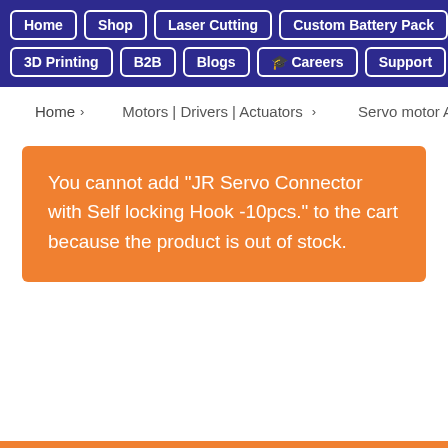Home | Shop | Laser Cutting | Custom Battery Pack | 3D Printing | B2B | Blogs | Careers | Support
Home > Motors | Drivers | Actuators > Servo motor Acce
You cannot add "JR Servo Connector with Self locking Hook -10pcs." to the cart because the product is out of stock.